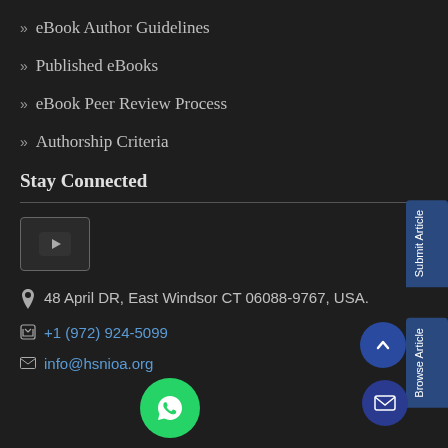eBook Author Guidelines
Published eBooks
eBook Peer Review Process
Authorship Criteria
Stay Connected
48 April DR, East Windsor CT 06088-9767, USA.
+1 (972) 924-5099
info@hsnioa.org